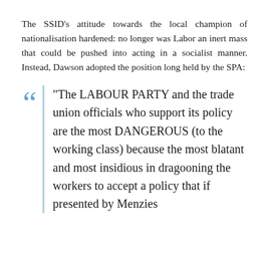The SSID's attitude towards the local champion of nationalisation hardened: no longer was Labor an inert mass that could be pushed into acting in a socialist manner. Instead, Dawson adopted the position long held by the SPA:
"The LABOUR PARTY and the trade union officials who support its policy are the most DANGEROUS (to the working class) because the most blatant and most insidious in dragooning the workers to accept a policy that if presented by Menzies